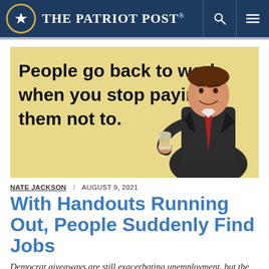The Patriot Post
[Figure (illustration): Vintage-style illustration of a man in a suit relaxing with a drink, with bold text reading: 'People go back to work when you stop paying them not to.']
NATE JACKSON / AUGUST 9, 2021
With Handouts Running Out, People Suddenly Find Jobs
Democrat giveaways are still exacerbating unemployment, but the tide is finally turning.